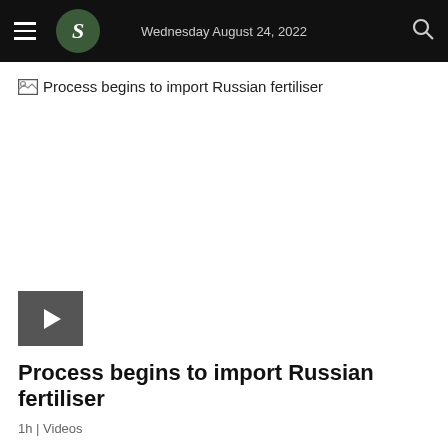Wednesday August 24, 2022
[Figure (screenshot): Broken image placeholder with text: Process begins to import Russian fertiliser]
[Figure (screenshot): Video thumbnail with dark grey background and white play button triangle]
Process begins to import Russian fertiliser
1h | Videos
[Figure (screenshot): Broken image placeholder with text: Russia blames Ukraine for D...s killing]